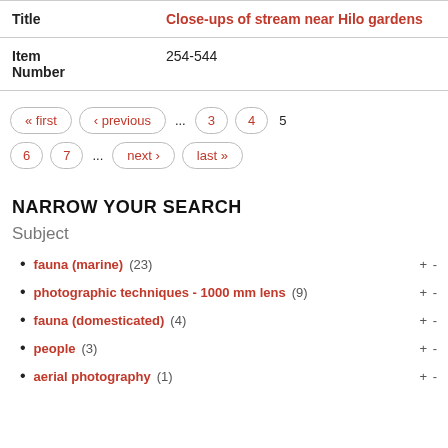| Field | Value |
| --- | --- |
| Title | Close-ups of stream near Hilo gardens |
| Item Number | 254-544 |
« first  ‹ previous  ...  3  4  5
6  7  ...  next ›  last »
NARROW YOUR SEARCH
Subject
fauna (marine) (23)
photographic techniques - 1000 mm lens (9)
fauna (domesticated) (4)
people (3)
aerial photography (1)